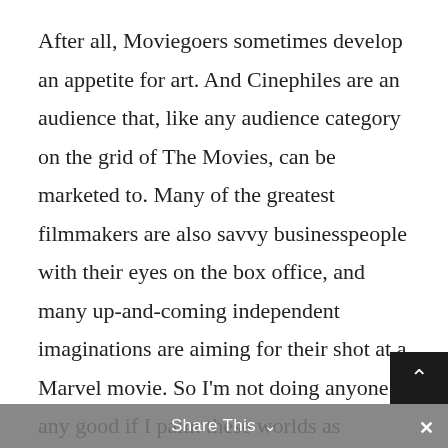After all, Moviegoers sometimes develop an appetite for art. And Cinephiles are an audience that, like any audience category on the grid of The Movies, can be marketed to. Many of the greatest filmmakers are also savvy businesspeople with their eyes on the box office, and many up-and-coming independent imaginations are aiming for their shot at a Marvel movie. So I'm not doing anyone any good if I paint these worlds as oppositional and exclusive.
But the more I grow weary of franchise-focused, formulaic movies, and the more I become allergic to nostalgia merchants, the more I find myself grateful for those artists, those loners, those imaginations on the edges of things. For Wim Wenders and Claire
Share This ∨